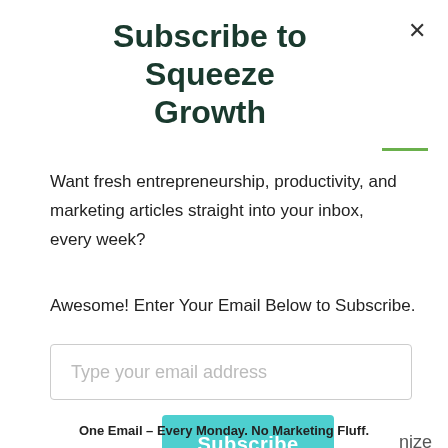Subscribe to Squeeze Growth
Want fresh entrepreneurship, productivity, and marketing articles straight into your inbox, every week?
Awesome! Enter Your Email Below to Subscribe.
Type your email address
Subscribe
nize
One Email – Every Monday. No Marketing Fluff.